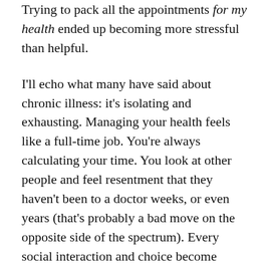Trying to pack all the appointments for my health ended up becoming more stressful than helpful.
I'll echo what many have said about chronic illness: it's isolating and exhausting. Managing your health feels like a full-time job. You're always calculating your time. You look at other people and feel resentment that they haven't been to a doctor weeks, or even years (that's probably a bad move on the opposite side of the spectrum). Every social interaction and choice become loaded with the question will I make my symptoms worse? What will I have to do to undo this event?
Talia Hibbert puts the isolating feeling in